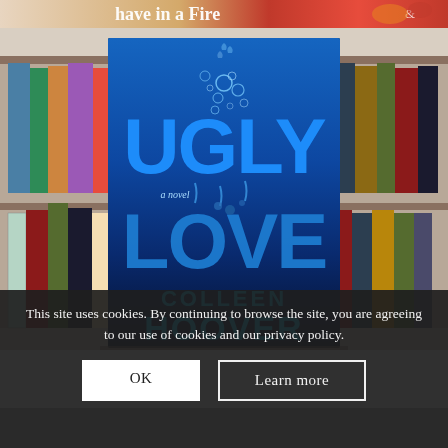[Figure (photo): Top partial banner showing book cover with text 'have in a Fire' and decorative elements, cropped at top]
[Figure (photo): Photo of the book 'Ugly Love: a novel' by Colleen Hoover, displayed in front of a bookshelf. The book cover is dark blue/black with large text UGLY LOVE and water droplets/bubbles. Author name COLLEEN HOOVER at bottom. Surrounding shelf books visible including True Colors, Hannah, Red Queen, Lost Boy, and others.]
This site uses cookies. By continuing to browse the site, you are agreeing to our use of cookies and our privacy policy.